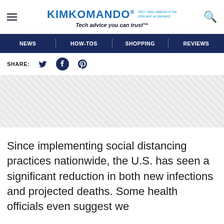KIMKOMANDO® 420+ radio stations in the USA and on demand Tech advice you can trust™
NEWS | HOW-TOS | SHOPPING | REVIEWS
SHARE:
[Figure (other): Advertisement placeholder with diagonal hatching pattern]
Since implementing social distancing practices nationwide, the U.S. has seen a significant reduction in both new infections and projected deaths. Some health officials even suggest we